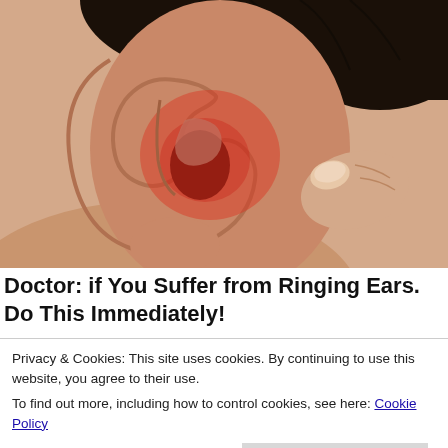[Figure (photo): Close-up photo of a human ear with reddish inflammation visible inside the ear canal, and a finger pressing near the tragus area. Dark hair visible above the ear on skin-toned face.]
Doctor: if You Suffer from Ringing Ears. Do This Immediately!
Privacy & Cookies: This site uses cookies. By continuing to use this website, you agree to their use.
To find out more, including how to control cookies, see here: Cookie Policy
Close and accept
[Figure (photo): Bottom strip showing partial images of US dollar bills.]